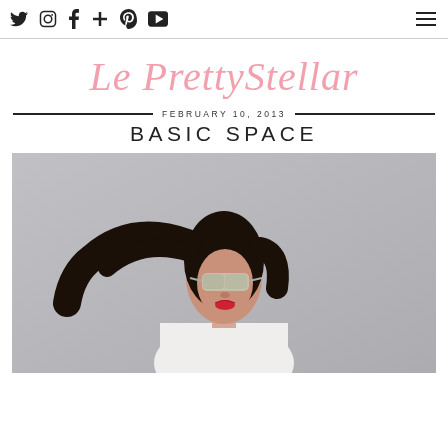Twitter Instagram Facebook Plus Pinterest YouTube [hamburger menu]
Le PrettyStellar
FEBRUARY 10, 2013
BASIC SPACE
[Figure (photo): Young woman with long dark hair blowing in wind, wearing white top and mirrored aviator sunglasses, red lipstick, against grey wall background]